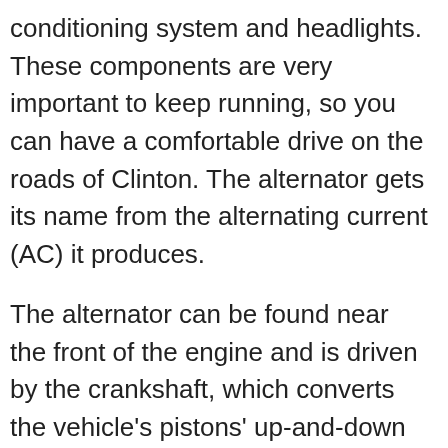conditioning system and headlights. These components are very important to keep running, so you can have a comfortable drive on the roads of Clinton. The alternator gets its name from the alternating current (AC) it produces.
The alternator can be found near the front of the engine and is driven by the crankshaft, which converts the vehicle's pistons' up-and-down movement into circular movement. Most alternators are bolted to a specific part of a vehicle's engine in order to achieve this. The electric current that is generated from the alternator is passed onto the vehicle's battery, providing the energy or voltage